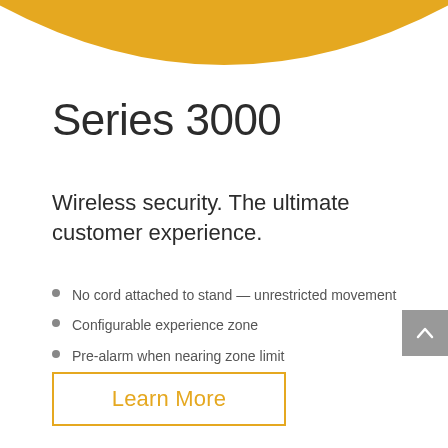[Figure (illustration): Golden/amber arc decorative header graphic spanning the top of the page]
Series 3000
Wireless security. The ultimate customer experience.
No cord attached to stand — unrestricted movement
Configurable experience zone
Pre-alarm when nearing zone limit
Learn More